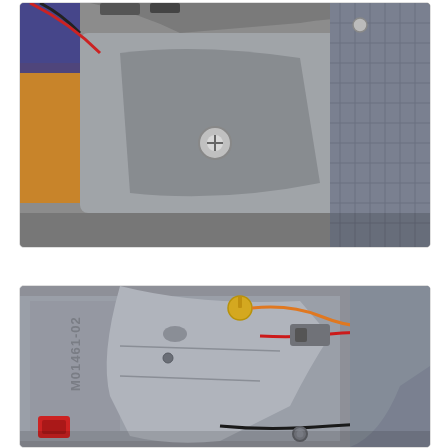[Figure (photo): Close-up photograph of the interior of an electronic or automotive component enclosure. Shows a dark gray plastic housing with wiring, a silver screw/bolt, and an orange/tan colored surface on the left. The top portion of the image is partially cropped. Various connectors and components are visible.]
[Figure (photo): Close-up photograph of the inside of a gray plastic enclosure or housing, labeled 'M01461-02' embossed on the surface. Visible components include colored wires (red, orange, black), a gold-colored component (likely a thermal fuse or capacitor), connectors, and a red plastic bracket at the bottom left. Multiple mounting holes and plastic ribs are visible.]